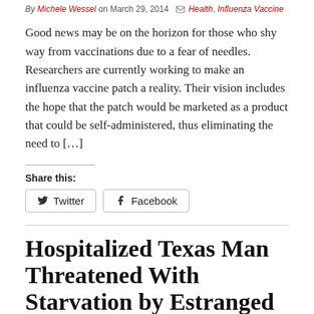By Michele Wessel on March 29, 2014  Health, Influenza Vaccine
Good news may be on the horizon for those who shy way from vaccinations due to a fear of needles. Researchers are currently working to make an influenza vaccine patch a reality. Their vision includes the hope that the patch would be marketed as a product that could be self-administered, thus eliminating the need to […]
Share this:
Twitter
Facebook
Hospitalized Texas Man Threatened With Starvation by Estranged Wife
By Michele Wessel on March 27, 2014  Texas, U.S.